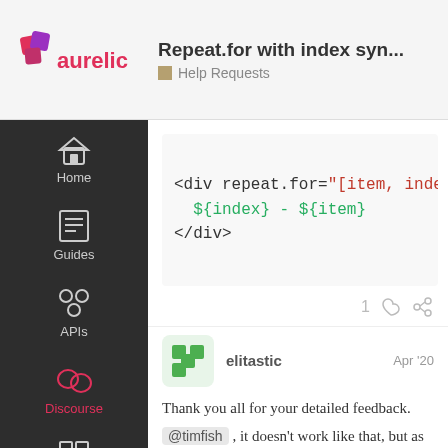Repeat.for with index syn... | Help Requests
[Figure (screenshot): Code block showing: <div repeat.for="[item, index] of i  ${index} - ${item}  </div>]
1 (like) (link)
elitastic  Apr '20
Thank you all for your detailed feedback.
@timfish , it doesn’t work like that, but as described in the first post it works with a map:
[Figure (screenshot): Code block: toView(array: any[]) { ... with page indicator 5/7]